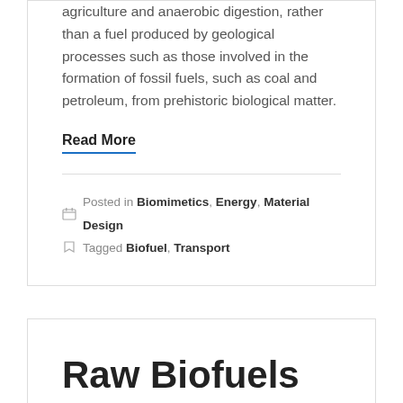agriculture and anaerobic digestion, rather than a fuel produced by geological processes such as those involved in the formation of fossil fuels, such as coal and petroleum, from prehistoric biological matter.
Read More
Posted in Biomimetics, Energy, Material Design
Tagged Biofuel, Transport
Raw Biofuels Are